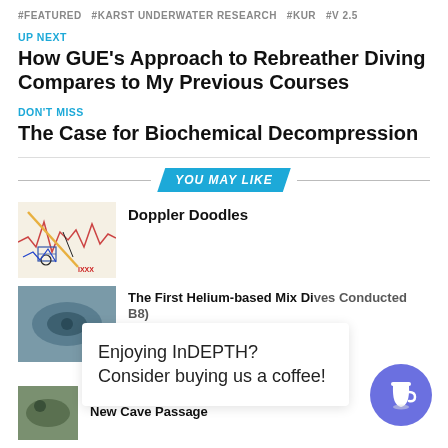#FEATURED  #KARST UNDERWATER RESEARCH  #KUR  #V 2.5
UP NEXT
How GUE’s Approach to Rebreather Diving Compares to My Previous Courses
DON’T MISS
The Case for Biochemical Decompression
YOU MAY LIKE
[Figure (photo): Thumbnail image related to Doppler Doodles article]
Doppler Doodles
[Figure (photo): Thumbnail image for helium-based mix dives article]
The First Helium-based Mix Dives Conducted ... B8)
Enjoying InDEPTH? Consider buying us a coffee!
[Figure (photo): Thumbnail image for cave passage article]
In The Line of Duty: Surveying 2.7 km of New Cave Passage